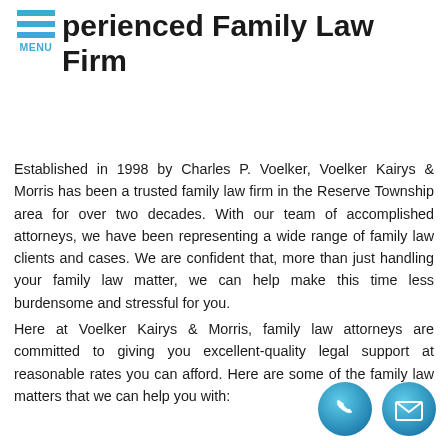MENU
Experienced Family Law Firm
Established in 1998 by Charles P. Voelker, Voelker Kairys & Morris has been a trusted family law firm in the Reserve Township area for over two decades. With our team of accomplished attorneys, we have been representing a wide range of family law clients and cases. We are confident that, more than just handling your family law matter, we can help make this time less burdensome and stressful for you.
Here at Voelker Kairys & Morris, family law attorneys are committed to giving you excellent-quality legal support at reasonable rates you can afford. Here are some of the family law matters that we can help you with:
[Figure (illustration): Two circular contact buttons at the bottom right: a phone icon and an envelope/mail icon, both in blue gradient circles.]